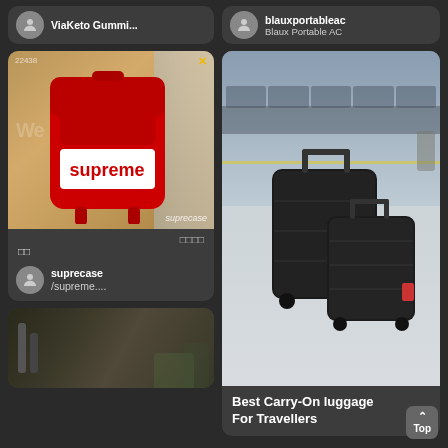[Figure (screenshot): Social media app screenshot showing two columns of content cards on a dark background. Left column: top account card 'ViaKeto Gummi...', post card with red Supreme backpack image and text overlay 'suprecase', Korean text, and user info 'suprecase /supreme...'; bottom gym photo. Right column: account card 'blauxportableac / Blaux Portable AC', luggage post with black carry-on suitcases at airport, caption 'Best Carry-On luggage For Travellers', and a Top button.]